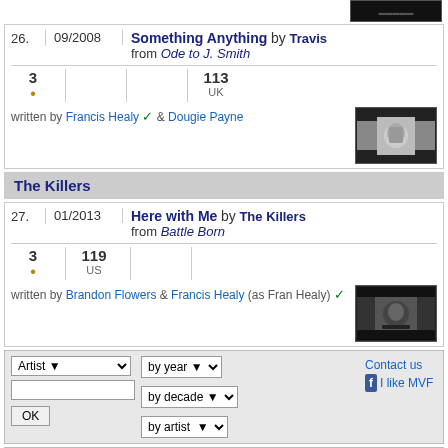[Figure (screenshot): Top partial album thumbnail image (dark background)]
26. 09/2008 Something Anything by Travis from Ode to J. Smith. Stats: 3 (bullet), 113 UK. Written by Francis Healy & Dougie Payne
The Killers
27. 01/2013 Here with Me by The Killers from Battle Born. Stats: 3 (bullet), 119 US. Written by Brandon Flowers & Francis Healy (as Fran Healy)
| Artist | by year | by decade | by artist | Contact |
| --- | --- | --- | --- | --- |
| search input |  |  |  | Contact us | I like MVF |
US charts info based on Billboard (www.billboard.com) charts • UK charts info based on The Official UK Charts Company's charts